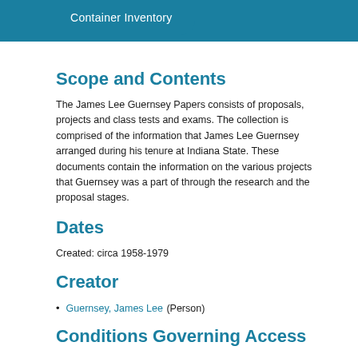Container Inventory
Scope and Contents
The James Lee Guernsey Papers consists of proposals, projects and class tests and exams. The collection is comprised of the information that James Lee Guernsey arranged during his tenure at Indiana State. These documents contain the information on the various projects that Guernsey was a part of through the research and the proposal stages.
Dates
Created: circa 1958-1979
Creator
Guernsey, James Lee (Person)
Conditions Governing Access